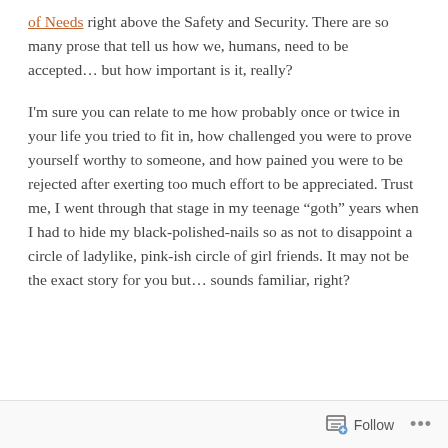of Needs right above the Safety and Security. There are so many prose that tell us how we, humans, need to be accepted… but how important is it, really?
I'm sure you can relate to me how probably once or twice in your life you tried to fit in, how challenged you were to prove yourself worthy to someone, and how pained you were to be rejected after exerting too much effort to be appreciated. Trust me, I went through that stage in my teenage “goth” years when I had to hide my black-polished-nails so as not to disappoint a circle of ladylike, pink-ish circle of girl friends. It may not be the exact story for you but… sounds familiar, right?
Follow ...